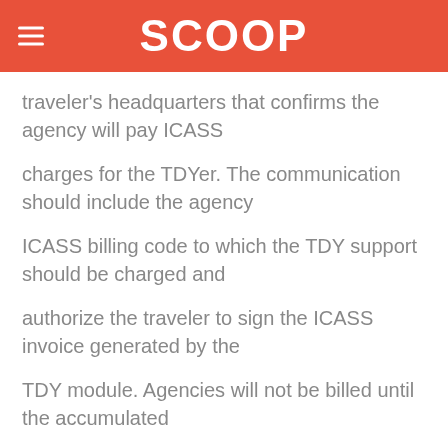SCOOP
traveler's headquarters that confirms the agency will pay ICASS
charges for the TDYer. The communication should include the agency
ICASS billing code to which the TDY support should be charged and
authorize the traveler to sign the ICASS invoice generated by the
TDY module. Agencies will not be billed until the accumulated
invoice cost for TDY support exceeds Dols 2,500 for the fiscal year.
Where travel is urgent, the TDYers should bring this documentation